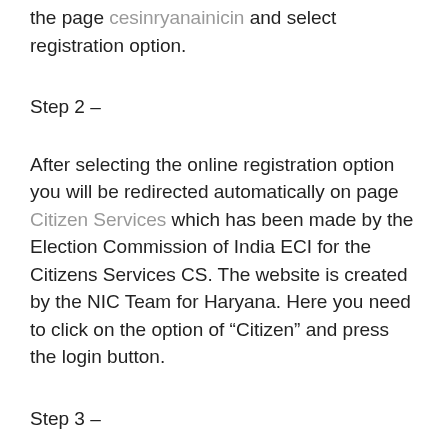the page cesinryanainicin and select registration option.
Step 2 –
After selecting the online registration option you will be redirected automatically on page Citizen Services which has been made by the Election Commission of India ECI for the Citizens Services CS. The website is created by the NIC Team for Haryana. Here you need to click on the option of “Citizen” and press the login button.
Step 3 –
Now you can check the page of eci-citizenservices ECLCS where you have to enter